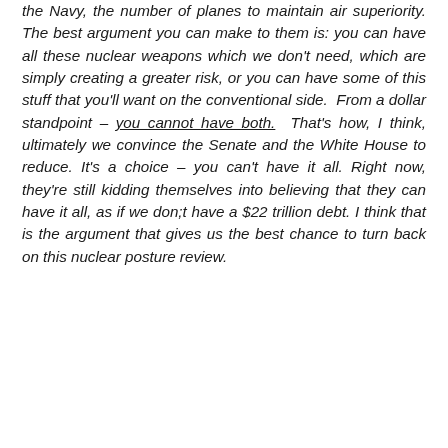the Navy, the number of planes to maintain air superiority. The best argument you can make to them is: you can have all these nuclear weapons which we don't need, which are simply creating a greater risk, or you can have some of this stuff that you'll want on the conventional side.  From a dollar standpoint – you cannot have both.  That's how, I think, ultimately we convince the Senate and the White House to reduce. It's a choice – you can't have it all. Right now, they're still kidding themselves into believing that they can have it all, as if we don;t have a $22 trillion debt. I think that is the argument that gives us the best chance to turn back on this nuclear posture review.